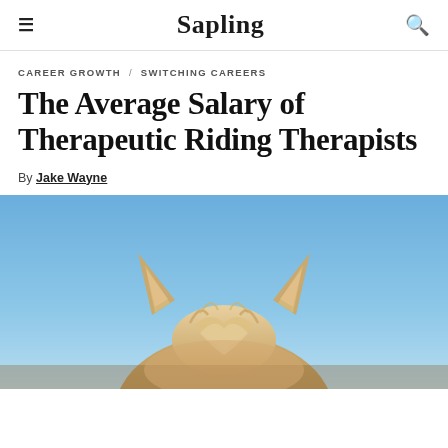≡  Sapling  🔍
CAREER GROWTH / SWITCHING CAREERS
The Average Salary of Therapeutic Riding Therapists
By Jake Wayne
[Figure (photo): Close-up photo of a horse from behind, showing the top of its head with two ears against a blue sky background. The horse has a blonde/tan mane.]